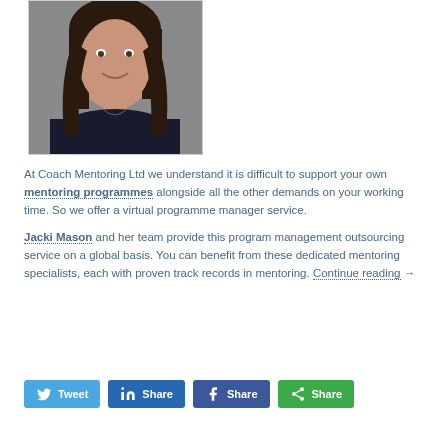[Figure (photo): Portrait photo of a woman with dark hair, smiling, wearing a dark jacket, against a gray background.]
At Coach Mentoring Ltd we understand it is difficult to support your own mentoring programmes alongside all the other demands on your working time. So we offer a virtual programme manager service.

Jacki Mason and her team provide this program management outsourcing service on a global basis. You can benefit from these dedicated mentoring specialists, each with proven track records in mentoring. Continue reading →
[Figure (infographic): Social share buttons: Tweet (Twitter/blue), Share (LinkedIn/dark blue), Share (Facebook/dark blue), Share (More/green)]